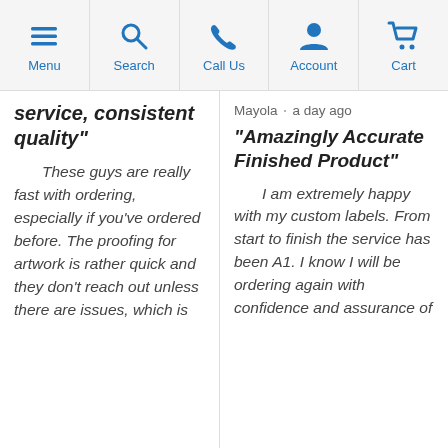Menu | Search | Call Us | Account | Cart
service, consistent quality"
These guys are really fast with ordering, especially if you've ordered before. The proofing for artwork is rather quick and they don't reach out unless there are issues, which is
Mayola · a day ago
"Amazingly Accurate Finished Product"
I am extremely happy with my custom labels. From start to finish the service has been A1. I know I will be ordering again with confidence and assurance of